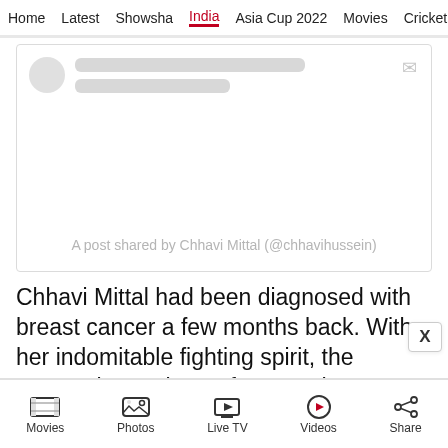Home | Latest | Showsha | India | Asia Cup 2022 | Movies | Cricket
[Figure (screenshot): Embedded social media post card with skeleton loading placeholders and caption 'A post shared by Chhavi Mittal (@chhavihussein)']
Chhavi Mittal had been diagnosed with breast cancer a few months back. With her indomitable fighting spirit, the actress kept a brave face as she went for a surgery and came out cancer free. She also shared her journey of slow recovery, and how nervous she was going for
Movies | Photos | Live TV | Videos | Share